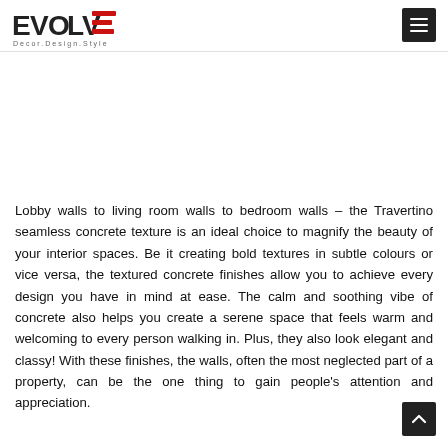EVOLVE Decor.Design.Style
Lobby walls to living room walls to bedroom walls – the Travertino seamless concrete texture is an ideal choice to magnify the beauty of your interior spaces. Be it creating bold textures in subtle colours or vice versa, the textured concrete finishes allow you to achieve every design you have in mind at ease. The calm and soothing vibe of concrete also helps you create a serene space that feels warm and welcoming to every person walking in. Plus, they also look elegant and classy! With these finishes, the walls, often the most neglected part of a property, can be the one thing to gain people's attention and appreciation.